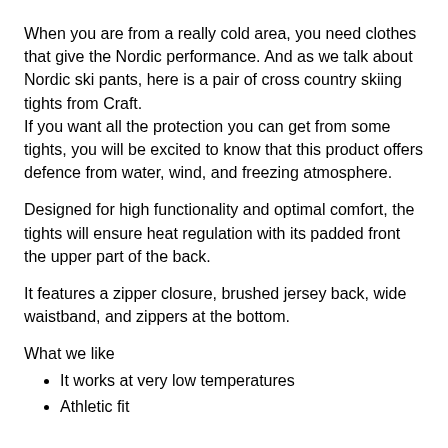When you are from a really cold area, you need clothes that give the Nordic performance. And as we talk about Nordic ski pants, here is a pair of cross country skiing tights from Craft. If you want all the protection you can get from some tights, you will be excited to know that this product offers defence from water, wind, and freezing atmosphere.
Designed for high functionality and optimal comfort, the tights will ensure heat regulation with its padded front the upper part of the back.
It features a zipper closure, brushed jersey back, wide waistband, and zippers at the bottom.
What we like
It works at very low temperatures
Athletic fit